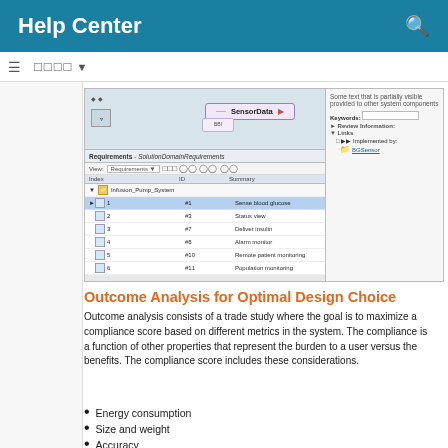Help Center
[Figure (screenshot): Screenshot of a requirements management tool showing a SensorData component with a requirements panel listing items: 1-Sense blood glucose, 2-Status view, 3-Deliver insulin, 4-Alarm monitor, 5-Remote patient monitoring, 6-Population monitoring. Right panel shows Links section with 'Implemented by: BGSensor'.]
Outcome Analysis for Optimal Design Choice
Outcome analysis consists of a trade study where the goal is to maximize a compliance score based on different metrics in the system. The compliance is a function of other properties that represent the burden to a user versus the benefits. The compliance score includes these considerations.
Energy consumption
Size and weight
Accuracy